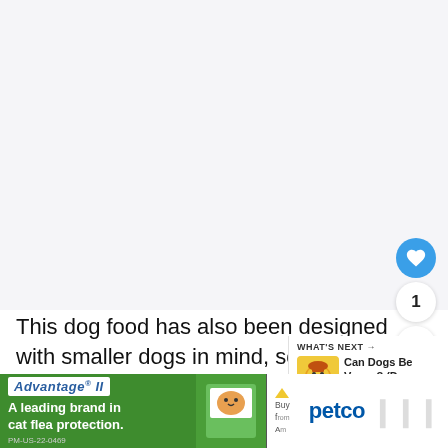[Figure (illustration): Large light gray/white empty area at top of page, representing a cropped image region]
This dog food has also been designed with smaller dogs in mind, so gives the smaller kibble they need.
[Figure (infographic): WHAT'S NEXT panel with cartoon dog/food illustration and title 'Can Dogs Be Vegan? (Do...']
[Figure (infographic): Advertisement bar at bottom: Advantage II cat flea protection ad on left, Petco buy now ad on right]